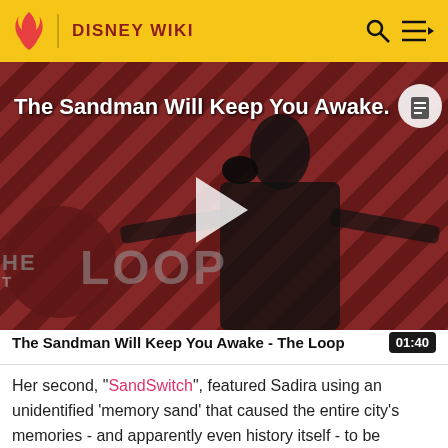DISNEY WIKI
[Figure (screenshot): Video thumbnail showing a character in black cape against diagonal red and black striped background, with 'THE LOOP' watermark, play button overlay, and title 'The Sandman Will Keep You Awake...']
The Sandman Will Keep You Awake - The Loop
Her second, "SandSwitch", featured Sadira using an unidentified 'memory sand' that caused the entire city's memories - and apparently even history itself - to be